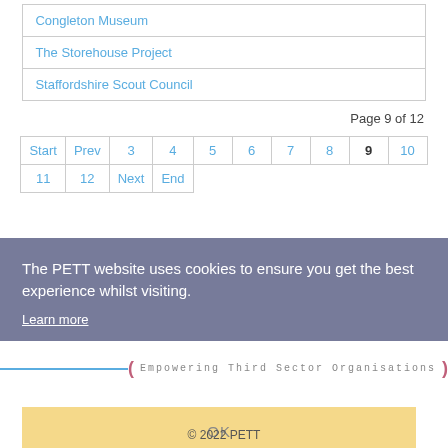| Congleton Museum |
| The Storehouse Project |
| Staffordshire Scout Council |
Page 9 of 12
| Start | Prev | 3 | 4 | 5 | 6 | 7 | 8 | 9 | 10 |
| --- | --- | --- | --- | --- | --- | --- | --- | --- | --- |
| 11 | 12 | Next | End |  |  |  |  |  |  |
The PETT website uses cookies to ensure you get the best experience whilst visiting.
Learn more
( Empowering Third Sector Organisations )
OK
© 2022 PETT